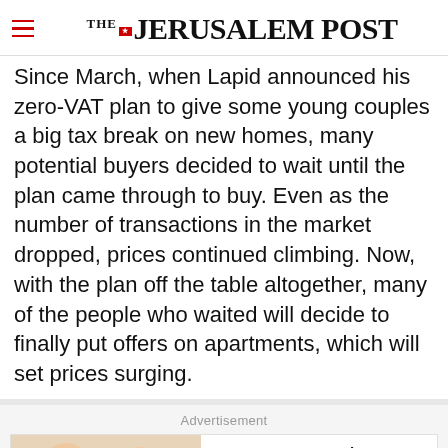THE JERUSALEM POST
Since March, when Lapid announced his zero-VAT plan to give some young couples a big tax break on new homes, many potential buyers decided to wait until the plan came through to buy. Even as the number of transactions in the market dropped, prices continued climbing. Now, with the plan off the table altogether, many of the people who waited will decide to finally put offers on apartments, which will set prices surging.
Advertisement
[Figure (illustration): Advertisement illustration showing cartoon figures]
How To Lose 40.5 Lbs In A Month (Eat This Once Every Day) - Ad